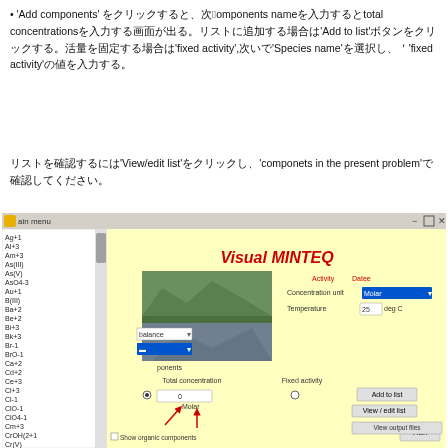•　'Add components'をクリックすると、次のcomponents nameを入力するとtotal concentrationsを入力する画面が出る。リストに追加する場合は'Add to list'ボタンをクリックする。活量を固定する場合は'fixed activity',次いで'Species name'を選択し、'fixed activity'の値を入力する。
リストを確認するには'View/edit list'をクリックし、'componets in the present problem'で確認してください。
[Figure (screenshot): Screenshot of Visual MINTEQ software interface showing the main menu window with a list of chemical components on the left, a landscape photo in the center, and controls for concentration unit, temperature, total concentration, fixed activity, Add to list button, View/edit list button, and Run button on the right side.]